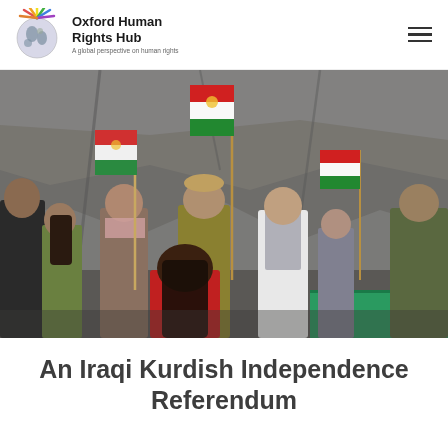Oxford Human Rights Hub — A global perspective on human rights
[Figure (photo): Group of Kurdish people holding flags (red, white, green Kurdish flags) in front of a rocky cliff background, participating in what appears to be an independence referendum gathering or demonstration.]
An Iraqi Kurdish Independence Referendum